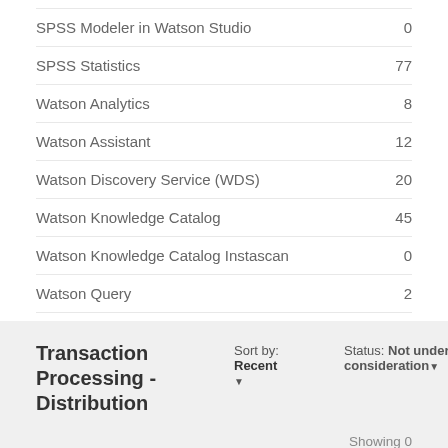SPSS Modeler in Watson Studio  0
SPSS Statistics  77
Watson Analytics  8
Watson Assistant  12
Watson Discovery Service (WDS)  20
Watson Knowledge Catalog  45
Watson Knowledge Catalog Instascan  0
Watson Query  2
Transaction Processing - Distribution
Sort by: Recent
Status: Not under consideration
Showing 0